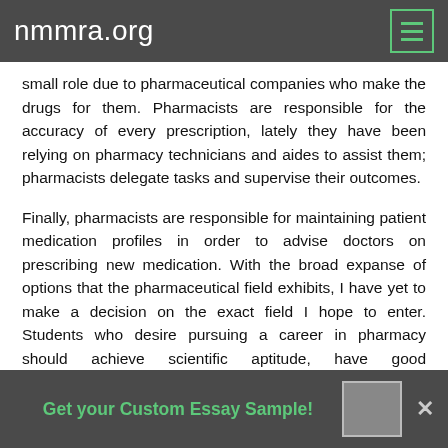nmmra.org
small role due to pharmaceutical companies who make the drugs for them. Pharmacists are responsible for the accuracy of every prescription, lately they have been relying on pharmacy technicians and aides to assist them; pharmacists delegate tasks and supervise their outcomes.
Finally, pharmacists are responsible for maintaining patient medication profiles in order to advise doctors on prescribing new medication. With the broad expanse of options that the pharmaceutical field exhibits, I have yet to make a decision on the exact field I hope to enter. Students who desire pursuing a career in pharmacy should achieve scientific aptitude, have good communication skills, a desire to help others, and
Get your Custom Essay Sample!